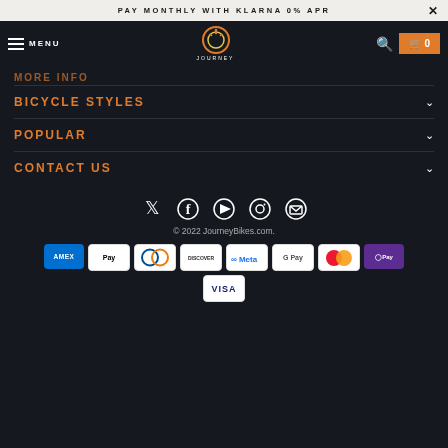PAY MONTHLY WITH KLARNA 0% APR
[Figure (screenshot): Navigation bar with hamburger menu, MENU label, Journey Bikes logo, search icon, and cart button showing 0 items]
MORE INFO
BICYCLE STYLES
POPULAR
CONTACT US
[Figure (infographic): Social media icons row: Twitter, Facebook, YouTube, Instagram, Email]
© 2022 JourneyBikes.com.
[Figure (infographic): Payment method logos: AMEX, Apple Pay, Diners Club, Discover, Meta Pay, Google Pay, Mastercard, Shop Pay, Visa]